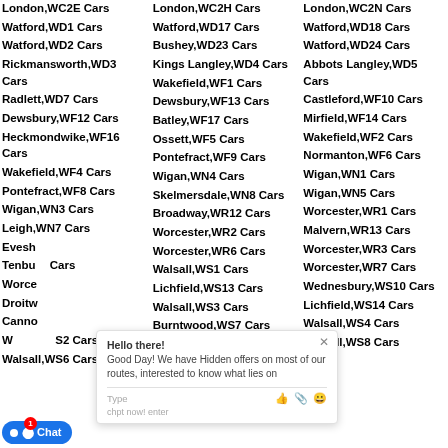London,WC2E Cars
Watford,WD1 Cars
Watford,WD2 Cars
Rickmansworth,WD3 Cars
Radlett,WD7 Cars
Dewsbury,WF12 Cars
Heckmondwike,WF16 Cars
Wakefield,WF4 Cars
Pontefract,WF8 Cars
Wigan,WN3 Cars
Leigh,WN7 Cars
Evesham,...
Tenbury... Cars
Worcester... Cars
Droitwich...
Cannock...
WS2 Cars
Walsall,WS6 Cars
London,WC2H Cars
Watford,WD17 Cars
Bushey,WD23 Cars
Kings Langley,WD4 Cars
Wakefield,WF1 Cars
Dewsbury,WF13 Cars
Batley,WF17 Cars
Ossett,WF5 Cars
Pontefract,WF9 Cars
Wigan,WN4 Cars
Skelmersdale,WN8 Cars
Broadway,WR12 Cars
Worcester,WR2 Cars
Worcester,WR6 Cars
Walsall,WS1 Cars
Lichfield,WS13 Cars
Walsall,WS3 Cars
Burntwood,WS7 Cars
London,WC2N Cars
Watford,WD18 Cars
Watford,WD24 Cars
Abbots Langley,WD5 Cars
Castleford,WF10 Cars
Mirfield,WF14 Cars
Wakefield,WF2 Cars
Normanton,WF6 Cars
Wigan,WN1 Cars
Wigan,WN5 Cars
Worcester,WR1 Cars
Malvern,WR13 Cars
Worcester,WR3 Cars
Worcester,WR7 Cars
Wednesbury,WS10 Cars
Lichfield,WS14 Cars
Walsall,WS4 Cars
Walsall,WS8 Cars